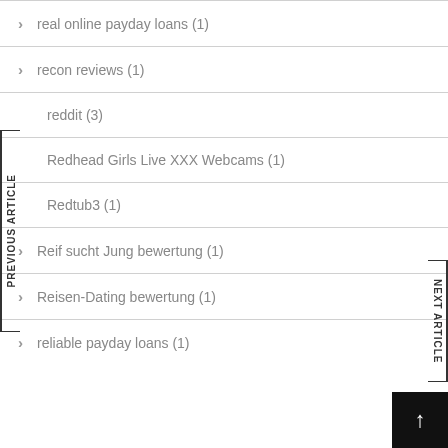real online payday loans (1)
recon reviews (1)
reddit (3)
Redhead Girls Live XXX Webcams (1)
Redtub3 (1)
Reif sucht Jung bewertung (1)
Reisen-Dating bewertung (1)
reliable payday loans (1)